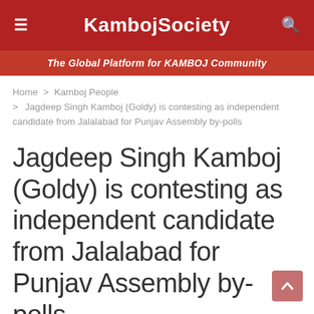KambojSociety
The Global Platform for KAMBOJ Community
Home > Kamboj People > Jagdeep Singh Kamboj (Goldy) is contesting as independent candidate from Jalalabad for Punjav Assembly by-polls
Jagdeep Singh Kamboj (Goldy) is contesting as independent candidate from Jalalabad for Punjav Assembly by-polls